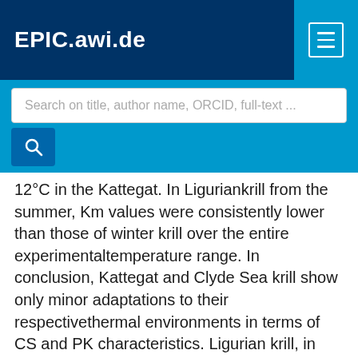EPIC.awi.de
Search on title, author name, ORCID, full-text ...
12°C in the Kattegat. In Liguriankrill from the summer, Km values were consistently lower than those of winter krill over the entire experimentaltemperature range. In conclusion, Kattegat and Clyde Sea krill show only minor adaptations to their respectivethermal environments in terms of CS and PK characteristics. Ligurian krill, in contrast, exhibited decreased specificCS activity during